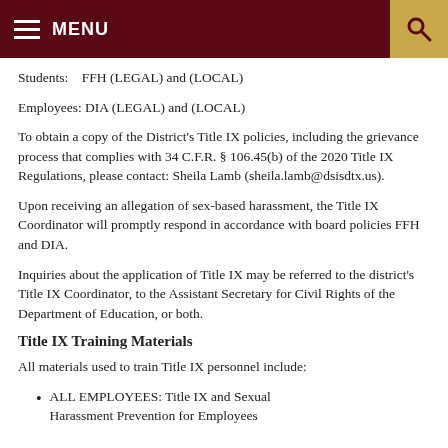MENU
Students:    FFH (LEGAL) and (LOCAL)
Employees: DIA (LEGAL) and (LOCAL)
To obtain a copy of the District's Title IX policies, including the grievance process that complies with 34 C.F.R. § 106.45(b) of the 2020 Title IX Regulations, please contact: Sheila Lamb (sheila.lamb@dsisdtx.us).
Upon receiving an allegation of sex-based harassment, the Title IX Coordinator will promptly respond in accordance with board policies FFH and DIA.
Inquiries about the application of Title IX may be referred to the district's Title IX Coordinator, to the Assistant Secretary for Civil Rights of the Department of Education, or both.
Title IX Training Materials
All materials used to train Title IX personnel include:
ALL EMPLOYEES: Title IX and Sexual Harassment Prevention for Employees